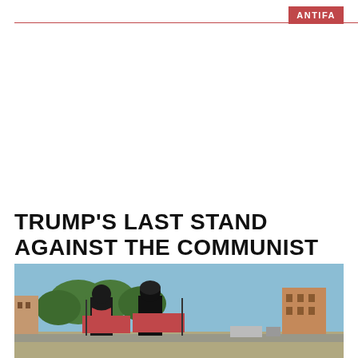ANTIFA
TRUMP'S LAST STAND AGAINST THE COMMUNIST TAKE OVER OF AMERICA
[Figure (photo): Two masked protesters dressed in black holding red banners at an outdoor demonstration, trees and brick buildings visible in background under a blue sky.]